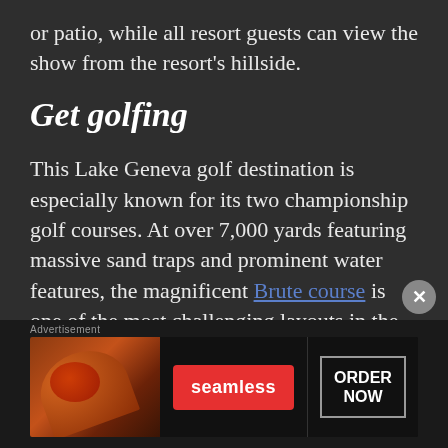or patio, while all resort guests can view the show from the resort's hillside.
Get golfing
This Lake Geneva golf destination is especially known for its two championship golf courses. At over 7,000 yards featuring massive sand traps and prominent water features, the magnificent Brute course is one of the most challenging layouts in the Midwest is considered one of Wisconsin's
[Figure (other): Seamless food delivery advertisement banner with pizza image, Seamless logo button, and ORDER NOW button]